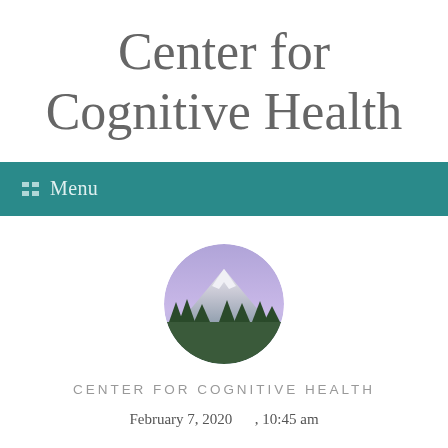Center for Cognitive Health
Menu
[Figure (photo): Circular logo image showing a mountain (likely Mt. Hood) with a purple-blue sky and green forested foreground]
CENTER FOR COGNITIVE HEALTH
February 7, 2020     , 10:45 am